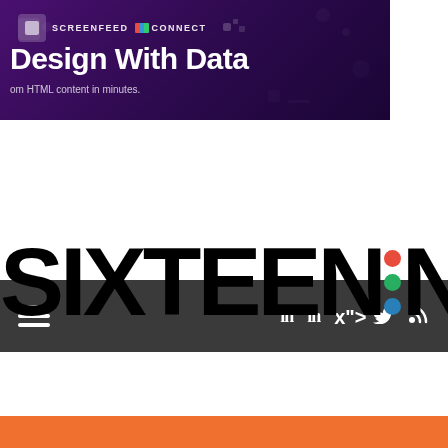[Figure (screenshot): Screenfeed Connect banner ad with purple gradient background, 'Design With Data' headline and 'HTML content in minutes' subtitle]
[Figure (screenshot): Dark gray navigation bar with hamburger menu on left and social icons (LinkedIn x2, Twitter, RSS) on right]
SIXTEEN:NINE
[Figure (screenshot): Mvix digital signage advertisement: 'INVEST NOW, SAVE LATER. DIGITAL SIGNAGE FOREVER. GET FREE NEW PLAYERS EVERY 3 YEARS!' with Learn More button]
[Figure (screenshot): Orange banner bar at bottom of page]